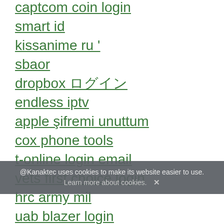captcom coin login
smart id
kissanime ru '
sbaor
dropbox ログイン
endless iptv
apple şifremi unuttum
cox phone tools
t-online login email
vets first choice login
hrc army mil
uab blazer login
ace123
henry schein dental login
@Kanaktec uses cookies to make its website easier to use. Learn more about cookies. X